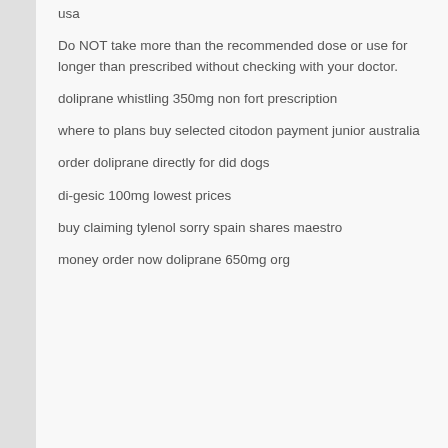usa
Do NOT take more than the recommended dose or use for longer than prescribed without checking with your doctor.
doliprane whistling 350mg non fort prescription
where to plans buy selected citodon payment junior australia
order doliprane directly for did dogs
di-gesic 100mg lowest prices
buy claiming tylenol sorry spain shares maestro
money order now doliprane 650mg org